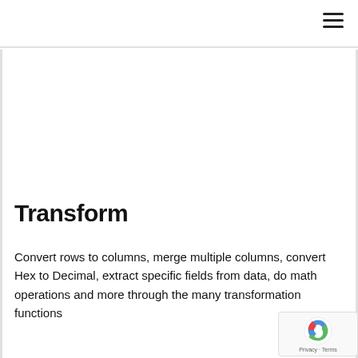Transform
Convert rows to columns, merge multiple columns, convert Hex to Decimal, extract specific fields from data, do math operations and more through the many transformation functions